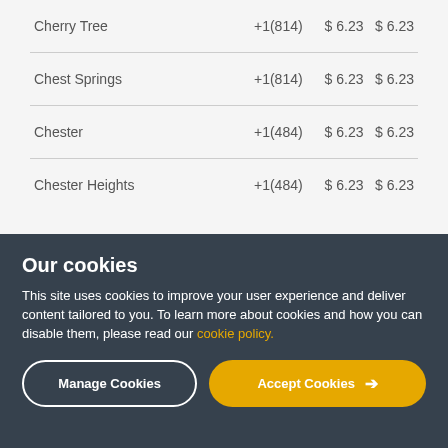| Cherry Tree | +1(814) | $ 6.23 | $ 6.23 |
| Chest Springs | +1(814) | $ 6.23 | $ 6.23 |
| Chester | +1(484) | $ 6.23 | $ 6.23 |
| Chester Heights | +1(484) | $ 6.23 | $ 6.23 |
Our cookies
This site uses cookies to improve your user experience and deliver content tailored to you. To learn more about cookies and how you can disable them, please read our cookie policy.
Manage Cookies
Accept Cookies →